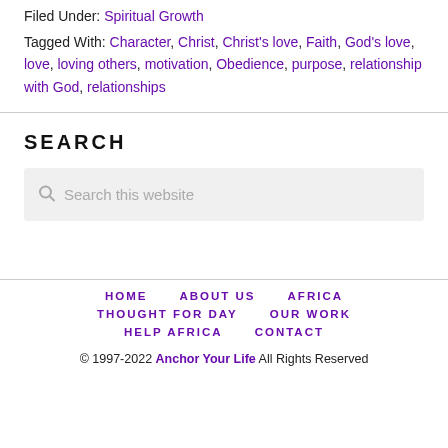Filed Under: Spiritual Growth
Tagged With: Character, Christ, Christ's love, Faith, God's love, love, loving others, motivation, Obedience, purpose, relationship with God, relationships
SEARCH
Search this website
HOME  ABOUT US  AFRICA  THOUGHT FOR DAY  OUR WORK  HELP AFRICA  CONTACT
© 1997-2022 Anchor Your Life All Rights Reserved